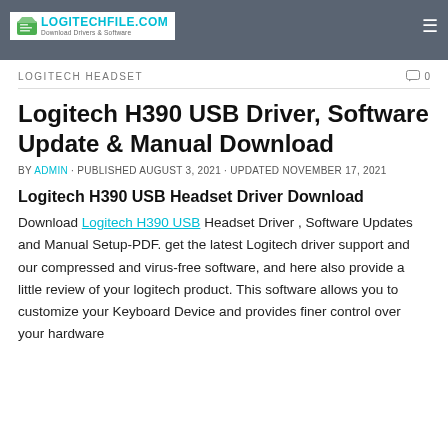LOGITECHFILE.COM — Download Drivers & Software
LOGITECH HEADSET
Logitech H390 USB Driver, Software Update & Manual Download
BY ADMIN · PUBLISHED AUGUST 3, 2021 · UPDATED NOVEMBER 17, 2021
Logitech H390 USB Headset Driver Download
Download Logitech H390 USB Headset Driver , Software Updates and Manual Setup-PDF. get the latest Logitech driver support and our compressed and virus-free software, and here also provide a little review of your logitech product. This software allows you to customize your Keyboard Device and provides finer control over your hardware